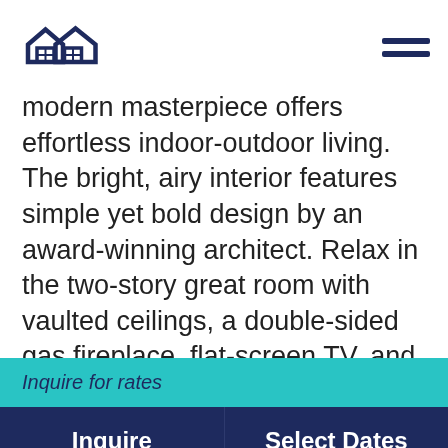[Logo: two house icons] [Hamburger menu]
modern masterpiece offers effortless indoor-outdoor living. The bright, airy interior features simple yet bold design by an award-winning architect. Relax in the two-story great room with vaulted ceilings, a double-sided gas fireplace, flat-screen TV, and sliders to the patio. Whip up a delicious breakfast in the...
Inquire for rates
Inquire
Select Dates